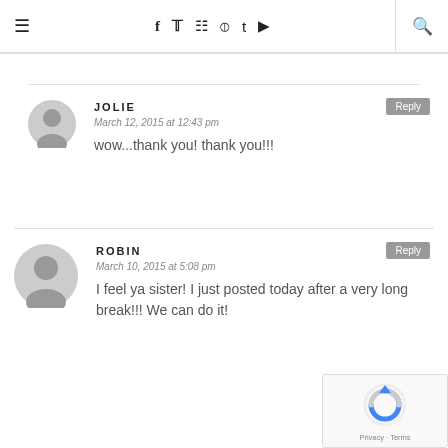☰  f  t  📷  𝒑  t  ▶  🔍
JOLIE
March 12, 2015 at 12:43 pm
wow...thank you! thank you!!!
ROBIN
March 10, 2015 at 5:08 pm
I feel ya sister! I just posted today after a very long break!!! We can do it!